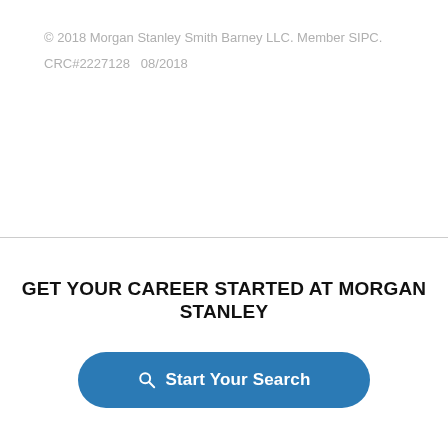© 2018 Morgan Stanley Smith Barney LLC. Member SIPC.
CRC#2227128   08/2018
GET YOUR CAREER STARTED AT MORGAN STANLEY
[Figure (other): Blue rounded button with search icon and text 'Start Your Search']